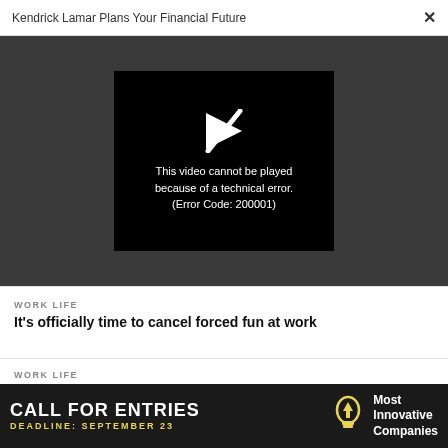Kendrick Lamar Plans Your Financial Future  ×
[Figure (screenshot): Video player error screen on dark grey background. Black rectangle showing a white play button icon with an X through it, and text: 'This video cannot be played because of a technical error. (Error Code: 200001)']
This video cannot be played because of a technical error. (Error Code: 200001)
WORK LIFE
It's officially time to cancel forced fun at work
WORK LIFE
3 tech-savvy ways to find more balance between...
[Figure (infographic): Advertisement banner: black background. Left side: 'CALL FOR ENTRIES' in large white bold text, 'DEADLINE: SEPTEMBER 23' in yellow. Right side: yellow lightbulb icon with upward arrow, 'Most Innovative Companies' in white bold text.]